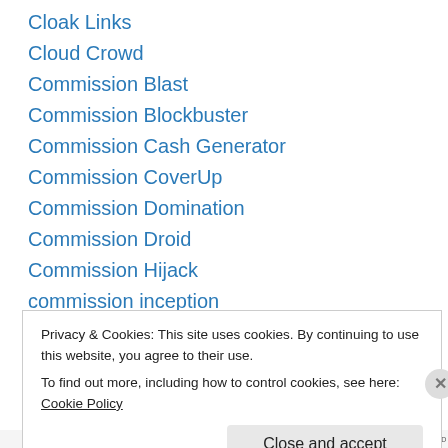Cloak Links
Cloud Crowd
Commission Blast
Commission Blockbuster
Commission Cash Generator
Commission CoverUp
Commission Domination
Commission Droid
Commission Hijack
commission inception
Commission Junction
Commission Robotics
Commission Uprising
Privacy & Cookies: This site uses cookies. By continuing to use this website, you agree to their use.
To find out more, including how to control cookies, see here: Cookie Policy